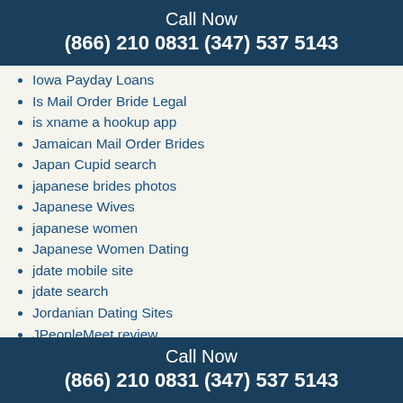Call Now
(866) 210 0831 (347) 537 5143
Iowa Payday Loans
Is Mail Order Bride Legal
is xname a hookup app
Jamaican Mail Order Brides
Japan Cupid search
japanese brides photos
Japanese Wives
japanese women
Japanese Women Dating
jdate mobile site
jdate search
Jordanian Dating Sites
JPeopleMeet review
jpeoplemeet review how to delete account
jswipe log in
Kansas Installment Loans No Credit Check
Kansas Payday Loans
Call Now
(866) 210 0831 (347) 537 5143